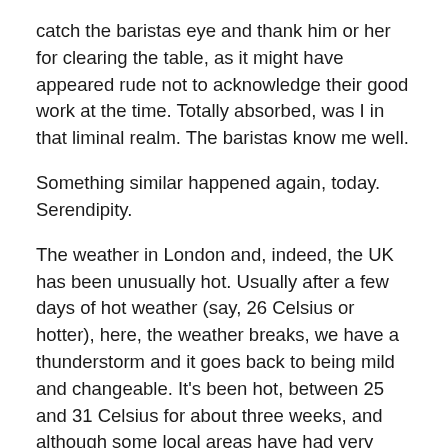catch the baristas eye and thank him or her for clearing the table, as it might have appeared rude not to acknowledge their good work at the time. Totally absorbed, was I in that liminal realm. The baristas know me well.
Something similar happened again, today. Serendipity.
The weather in London and, indeed, the UK has been unusually hot. Usually after a few days of hot weather (say, 26 Celsius or hotter), here, the weather breaks, we have a thunderstorm and it goes back to being mild and changeable. It's been hot, between 25 and 31 Celsius for about three weeks, and although some local areas have had very brief rainstorms, they've missed Fulham.
'Serendipity is the faculty of finding things we did not know we were looking for.' Glauco Ortolano